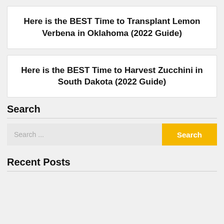Here is the BEST Time to Transplant Lemon Verbena in Oklahoma (2022 Guide)
Here is the BEST Time to Harvest Zucchini in South Dakota (2022 Guide)
Search
Recent Posts